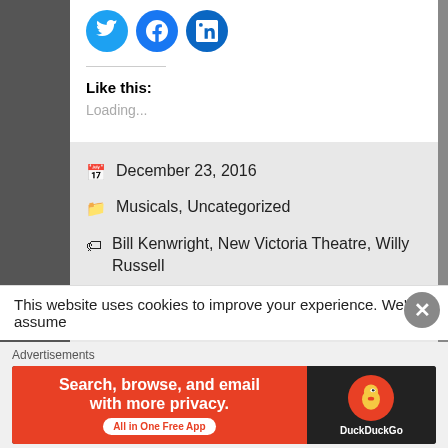[Figure (screenshot): Social share icons: Twitter (blue bird), Facebook (blue f), LinkedIn (blue in)]
Like this:
Loading...
December 23, 2016
Musicals, Uncategorized
Bill Kenwright, New Victoria Theatre, Willy Russell
Leave a comment
This website uses cookies to improve your experience. We'll assume
Advertisements
[Figure (screenshot): DuckDuckGo advertisement banner: Search, browse, and email with more privacy. All in One Free App. DuckDuckGo logo on dark background.]